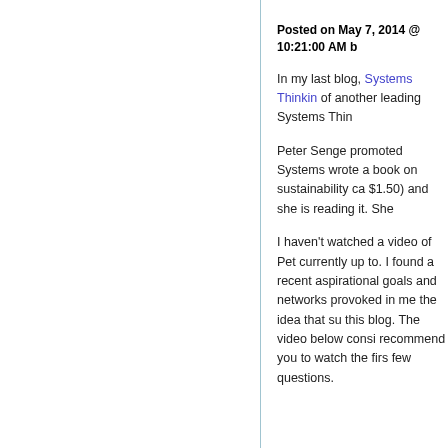Posted on May 7, 2014 @ 10:21:00 AM b
In my last blog, Systems Thinkin of another leading Systems Thin
Peter Senge promoted Systems wrote a book on sustainability ca $1.50) and she is reading it. She
I haven't watched a video of Pet currently up to. I found a recent aspirational goals and networks provoked in me the idea that su this blog. The video below consi recommend you to watch the firs few questions.